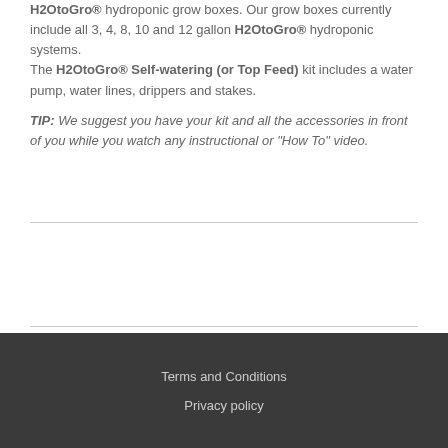H2OtoGro® hydroponic grow boxes. Our grow boxes currently include all 3, 4, 8, 10 and 12 gallon H2OtoGro® hydroponic systems. The H2OtoGro® Self-watering (or Top Feed) kit includes a water pump, water lines, drippers and stakes.
TIP: We suggest you have your kit and all the accessories in front of you while you watch any instructional or "How To" video.
Classical view
Terms and Conditions
Privacy policy